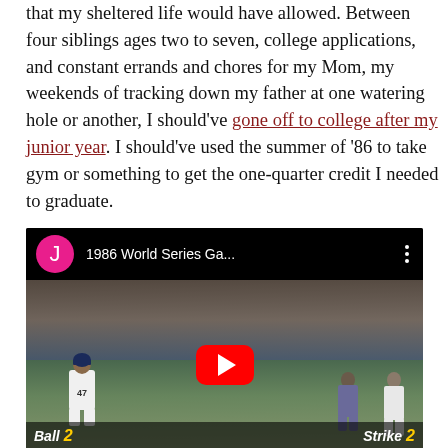that my sheltered life would have allowed. Between four siblings ages two to seven, college applications, and constant errands and chores for my Mom, my weekends of tracking down my father at one watering hole or another, I should've gone off to college after my junior year. I should've used the summer of '86 to take gym or something to get the one-quarter credit I needed to graduate.
[Figure (screenshot): Embedded YouTube video thumbnail showing a 1986 World Series baseball game. The video player shows a baseball game scene with player #47 on the field, a crowd in the background, and a red YouTube play button in the center. A 'Ball 2 Strike 2' score indicator appears at the bottom. The top bar shows a pink avatar with 'J', the title '1986 World Series Ga...', and a three-dot menu.]